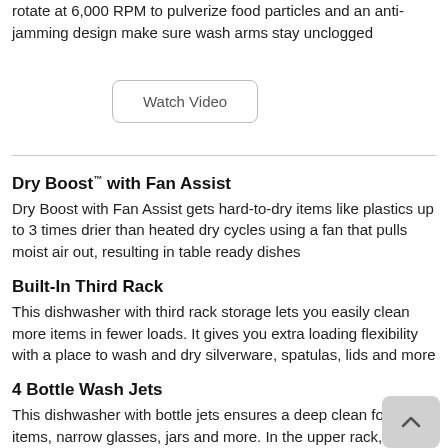rotate at 6,000 RPM to pulverize food particles and an anti-jamming design make sure wash arms stay unclogged
Watch Video
Dry Boost™ with Fan Assist
Dry Boost with Fan Assist gets hard-to-dry items like plastics up to 3 times drier than heated dry cycles using a fan that pulls moist air out, resulting in table ready dishes
Built-In Third Rack
This dishwasher with third rack storage lets you easily clean more items in fewer loads. It gives you extra loading flexibility with a place to wash and dry silverware, spatulas, lids and more
4 Bottle Wash Jets
This dishwasher with bottle jets ensures a deep clean for tall items, narrow glasses, jars and more. In the upper rack, each of the four bottle wash jets direct water and detergent inside to